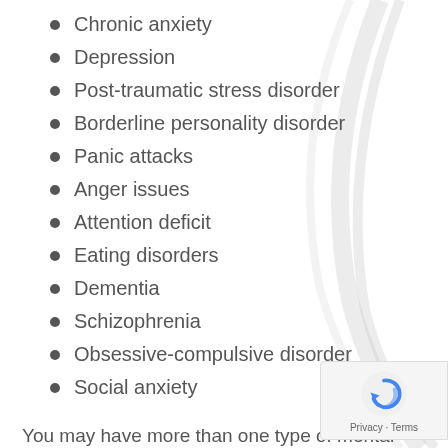Chronic anxiety
Depression
Post-traumatic stress disorder
Borderline personality disorder
Panic attacks
Anger issues
Attention deficit
Eating disorders
Dementia
Schizophrenia
Obsessive-compulsive disorder
Social anxiety
You may have more than one type of mental illness that is affecting your addictive behavior. In addition, you might not receive treatment for your addiction because you are using drugs or alcohol